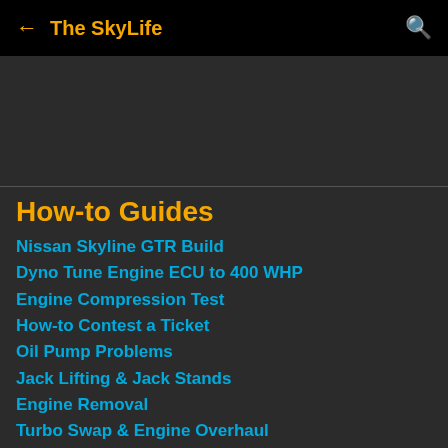← The SkyLife
How-to Guides
Nissan Skyline GTR Build
Dyno Tune Engine ECU to 400 WHP
Engine Compression Test
How-to Contest a Ticket
Oil Pump Problems
Jack Lifting & Jack Stands
Engine Removal
Turbo Swap & Engine Overhaul
Engine Assembly & Rebuild
Trick: Broken Manifold Stud Fix
Engine Installation
Twin Turbo Shuffle Surge Mod
Professional Fuel Injector Cleaner